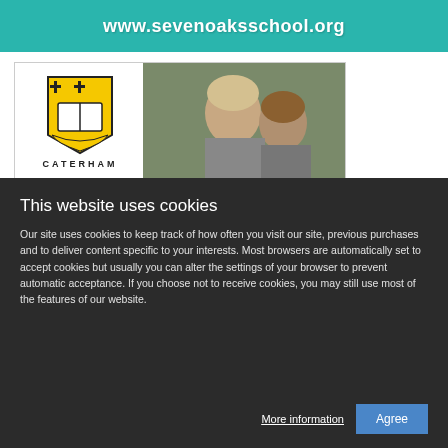www.sevenoaksschool.org
[Figure (other): Caterham school advertisement with logo and photo of two smiling girls, with a close button (x)]
This website uses cookies
Our site uses cookies to keep track of how often you visit our site, previous purchases and to deliver content specific to your interests. Most browsers are automatically set to accept cookies but usually you can alter the settings of your browser to prevent automatic acceptance. If you choose not to receive cookies, you may still use most of the features of our website.
More information | Agree